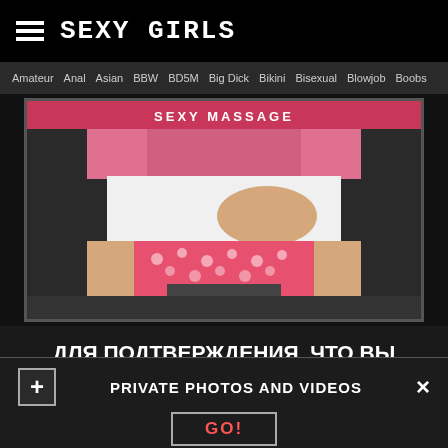SEXY GIRLS
Amateur  Anal  Asian  BBW  BD5M  Big Dick  Bikini  Bisexual  Blowjob  Boobs
[Figure (photo): Partially visible person in pink jacket and white skirt with patterned underwear visible]
ДЛЯ ПОДТВЕРЖДЕНИЯ, ЧТО ВЫ СТАРШЕ 18-ТИ, ПОЖАЛУЙСТА, АВТОРИЗИРУЙТЕСЬ ЧЕРЕЗ ВК
PRIVATE PHOTOS AND VIDEOS
GO!